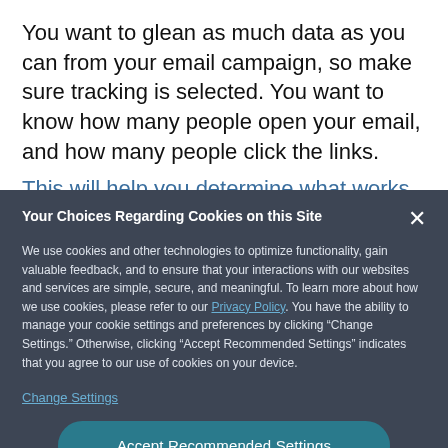You want to glean as much data as you can from your email campaign, so make sure tracking is selected. You want to know how many people open your email, and how many people click the links.
This will help you determine what works and what ... and the next
Your Choices Regarding Cookies on this Site
We use cookies and other technologies to optimize functionality, gain valuable feedback, and to ensure that your interactions with our websites and services are simple, secure, and meaningful. To learn more about how we use cookies, please refer to our Privacy Policy. You have the ability to manage your cookie settings and preferences by clicking "Change Settings." Otherwise, clicking "Accept Recommended Settings" indicates that you agree to our use of cookies on your device.
Change Settings
Accept Recommended Settings
When you get to Step 7, you'll learn a little more
Powered by: TrustArc | TRUSTe